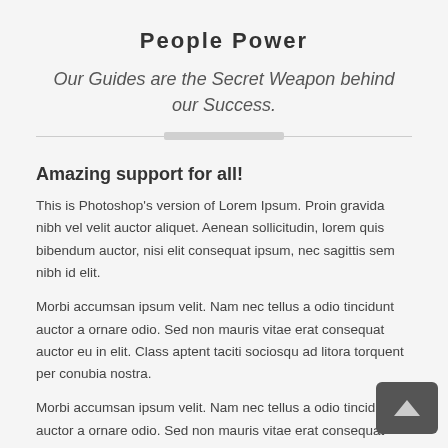People Power
Our Guides are the Secret Weapon behind our Success.
Amazing support for all!
This is Photoshop's version of Lorem Ipsum. Proin gravida nibh vel velit auctor aliquet. Aenean sollicitudin, lorem quis bibendum auctor, nisi elit consequat ipsum, nec sagittis sem nibh id elit.
Morbi accumsan ipsum velit. Nam nec tellus a odio tincidunt auctor a ornare odio. Sed non mauris vitae erat consequat auctor eu in elit. Class aptent taciti sociosqu ad litora torquent per conubia nostra.
Morbi accumsan ipsum velit. Nam nec tellus a odio tincidunt auctor a ornare odio. Sed non mauris vitae erat consequat auctor eu in